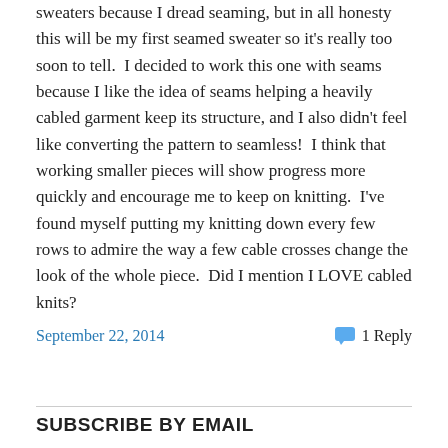sweaters because I dread seaming, but in all honesty this will be my first seamed sweater so it's really too soon to tell.  I decided to work this one with seams because I like the idea of seams helping a heavily cabled garment keep its structure, and I also didn't feel like converting the pattern to seamless!  I think that working smaller pieces will show progress more quickly and encourage me to keep on knitting.  I've found myself putting my knitting down every few rows to admire the way a few cable crosses change the look of the whole piece.  Did I mention I LOVE cabled knits?
September 22, 2014
1 Reply
SUBSCRIBE BY EMAIL